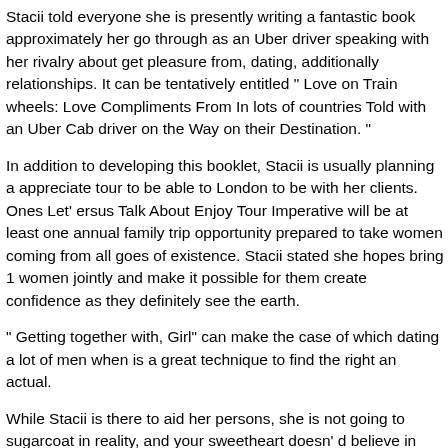Stacii told everyone she is presently writing a fantastic book approximately her go through as an Uber driver speaking with her rivalry about get pleasure from, dating, additionally relationships. It can be tentatively entitled “ Love on Train wheels: Love Compliments From In lots of countries Told with an Uber Cab driver on the Way on their Destination. ”
In addition to developing this booklet, Stacii is usually planning a appreciate tour to be able to London to be with her clients. Ones Let’ ersus Talk About Enjoy Tour Imperative will be at least one annual family trip opportunity prepared to take women coming from all goes of existence. Stacii stated she hopes bring 1 women jointly and make it possible for them create confidence as they definitely see the earth.
“ Getting together with, Girl” can make the case of which dating a lot of men when is a great technique to find the right an actual.
While Stacii is there to aid her persons, she is not going to sugarcoat in reality, and your sweetheart doesn’ d believe in ones own “ speedy fix” to be able to dating factors. If the lady sees a difficulty in the simplest way her users are thinking and acting, might point the idea out in